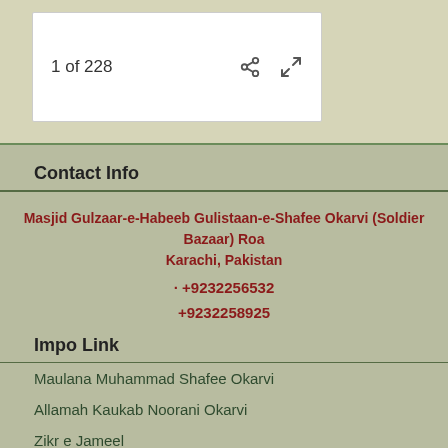1 of 228
Contact Info
Masjid Gulzaar-e-Habeeb Gulistaan-e-Shafee Okarvi (Soldier Bazaar) Road, Karachi, Pakistan
+9232256532
+9232258925
Impo Link
Maulana Muhammad Shafee Okarvi
Allamah Kaukab Noorani Okarvi
Zikr e Jameel
Academy Al Aalami